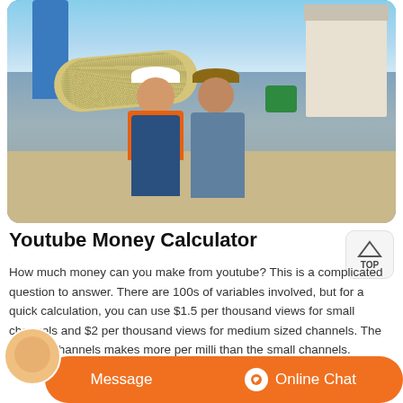[Figure (photo): Two men standing in front of industrial mining equipment (large yellow cylindrical mill with studded surface, blue silo, white building) outdoors. One man wears an orange safety vest and white cap; the other wears a denim jacket and knit hat with sunglasses.]
Youtube Money Calculator
How much money can you make from youtube? This is a complicated question to answer. There are 100s of variables involved, but for a quick calculation, you can use $1.5 per thousand views for small channels and $2 per thousand views for medium sized channels. The famous channels makes more per milli than the small channels.